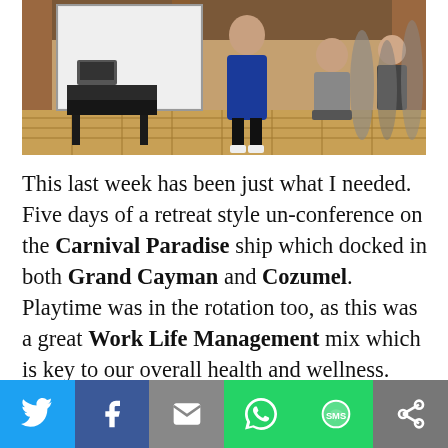[Figure (photo): Photo of a presentation or conference event inside a cruise ship venue. A person stands in front of a large projection screen, with a cart/equipment table nearby. Ornate flooring visible. Other people seated in background.]
This last week has been just what I needed. Five days of a retreat style un-conference on the Carnival Paradise ship which docked in both Grand Cayman and Cozumel. Playtime was in the rotation too, as this was a great Work Life Management mix which is key to our overall health and wellness.